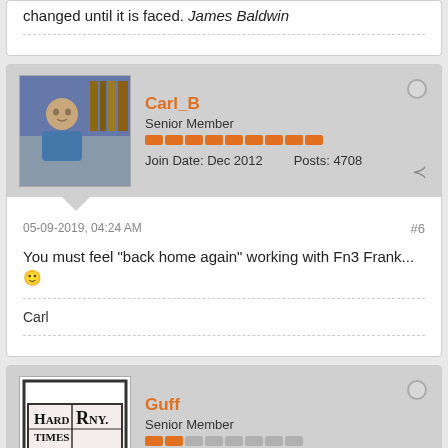changed until it is faced. James Baldwin
Carl_B
Senior Member
Join Date: Dec 2012  Posts: 4708
05-09-2019, 04:24 AM
#6
You must feel "back home again" working with Fn3 Frank... 🙂
Carl
Guff
Senior Member
Join Date: Oct 2014  Posts: 2359
05-09-2019, 05:12 AM
#7